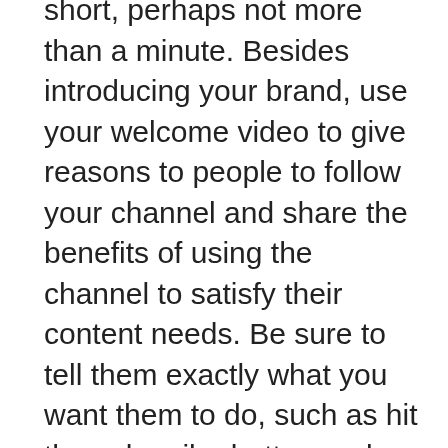short, perhaps not more than a minute. Besides introducing your brand, use your welcome video to give reasons to people to follow your channel and share the benefits of using the channel to satisfy their content needs. Be sure to tell them exactly what you want them to do, such as hit the subscribe button and share the channel on other social media platforms.
Use the description section to share important business information, including links to your website and your business profile on other social media platforms. Include a clear CTA in the description too just as you did in the video.
To confirm to visitors that they've arrived at the right place, brand your YouTube channel. Think of it as a landing page of your website that people